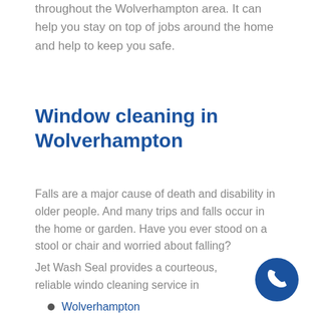throughout the Wolverhampton area. It can help you stay on top of jobs around the home and help to keep you safe.
Window cleaning in Wolverhampton
Falls are a major cause of death and disability in older people. And many trips and falls occur in the home or garden. Have you ever stood on a stool or chair and worried about falling?
Jet Wash Seal provides a courteous, reliable window cleaning service in
Wolverhampton